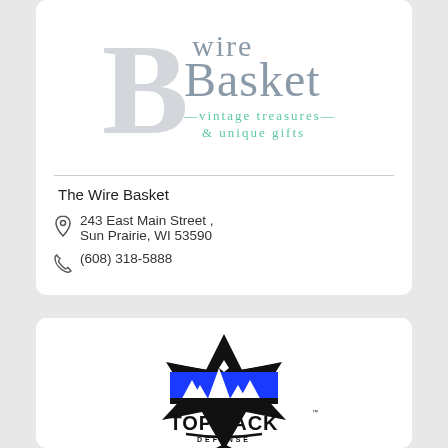[Figure (logo): The Wire Basket logo — large gray 'B' with 'wire Basket' text overlaid in gray and mint green, subtitle 'vintage treasures & unique gifts' in mint green]
The Wire Basket
243 East Main Street , Sun Prairie, WI 53590
(608) 318-5888
[Figure (logo): Top Pack Defense logo — black star/shield shape with blue mountain silhouette and white snow-capped peaks, bold black text 'TOP PACK' with trademark symbol, 'DEFENSE' in smaller caps below, diamond point at bottom]